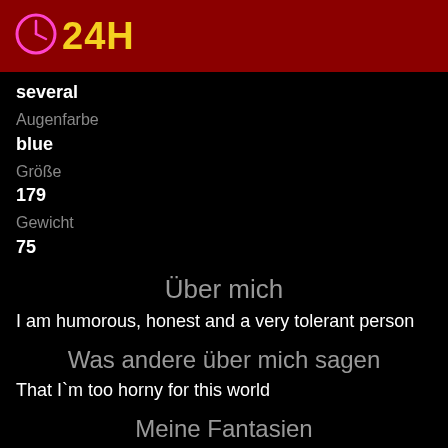24H
Augenfarbe
several
Größe
blue
Gewicht
179
75
Über mich
I am humorous, honest and a very tolerant person
Was andere über mich sagen
That I`m too horny for this world
Meine Fantasien